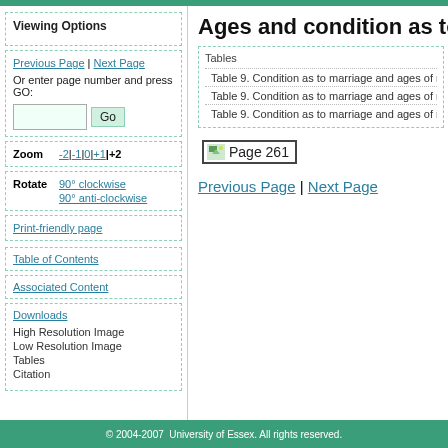Viewing Options
Previous Page | Next Page
Or enter page number and press GO:
Zoom  -2|-1|0|+1|+2
Rotate  90° clockwise  90° anti-clockwise
Print-friendly page
Table of Contents
Associated Content
Downloads
High Resolution Image
Low Resolution Image
Tables
Citation
Ages and condition as to
Tables
Table 9. Condition as to marriage and ages of mal
Table 9. Condition as to marriage and ages of mal
Table 9. Condition as to marriage and ages of mal
Page 261
Previous Page | Next Page
© 2004-2007  University of Essex. All rights reserved.